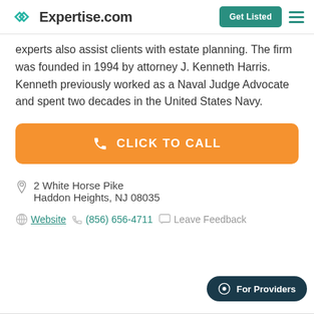Expertise.com | Get Listed
experts also assist clients with estate planning. The firm was founded in 1994 by attorney J. Kenneth Harris. Kenneth previously worked as a Naval Judge Advocate and spent two decades in the United States Navy.
[Figure (other): Orange button with phone icon and text CLICK TO CALL]
2 White Horse Pike
Haddon Heights, NJ 08035
Website  (856) 656-4711  Leave Feedback
[Figure (other): Dark teal pill-shaped For Providers button at bottom right]